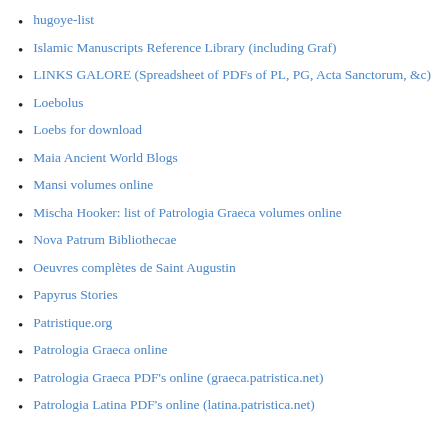hugoye-list
Islamic Manuscripts Reference Library (including Graf)
LINKS GALORE (Spreadsheet of PDFs of PL, PG, Acta Sanctorum, &c)
Loebolus
Loebs for download
Maia Ancient World Blogs
Mansi volumes online
Mischa Hooker: list of Patrologia Graeca volumes online
Nova Patrum Bibliothecae
Oeuvres complètes de Saint Augustin
Papyrus Stories
Patristique.org
Patrologia Graeca online
Patrologia Graeca PDF's online (graeca.patristica.net)
Patrologia Latina PDF's online (latina.patristica.net)